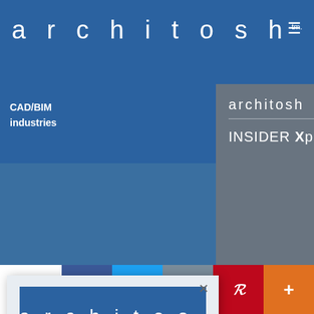architosh™ ≡
CAD/BIM industries
architosh
INSIDER Xpresso
[Figure (logo): architosh blue logo with white text]
INSIDER Membership
Read 3 free Feature or Analysis articles per month.
Or, subscribe now for unlimited full
tter with a h (AI, g, AAD, AR, ting, and impact on als.)
0 SHARES  f  twitter  email  pinterest  +